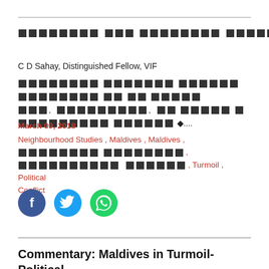████████ ███ ████████ ██████
C D Sahay, Distinguished Fellow, VIF
████████ ███████ ██████ ████████ ██ ██ █████ ███, █████████, ██ █████ ██████ ██████████ ██████ ◆....
March 09, 2018
Neighbourhood Studies , Maldives , Maldives , ████████ ████████ , ██████████ ██████ , Turmoil , Political Conflict
[Figure (other): Social media share buttons: Facebook (blue circle with f), Twitter (light blue circle with bird), WhatsApp (green circle with phone)]
Commentary: Maldives in Turmoil- Political